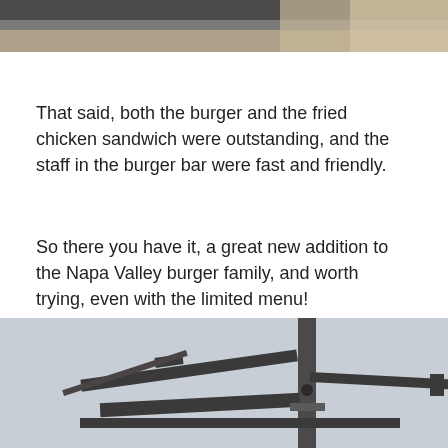[Figure (photo): Top portion of a photo, partially cropped, showing a dark subject against a light background]
That said, both the burger and the fried chicken sandwich were outstanding, and the staff in the burger bar were fast and friendly.
So there you have it, a great new addition to the Napa Valley burger family, and worth trying, even with the limited menu!
Of course, there are a number of great burgers in wine country, led by the legendary Taylor’s Refresher:
[Figure (photo): Bottom photo showing a metal sign structure with arms extending sideways, against a light sky background — appears to be a Taylor's Refresher sign]